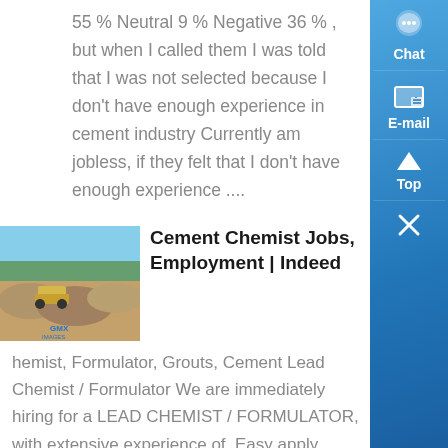55 % Neutral 9 % Negative 36 % , but when I called them I was told that I was not selected because I don't have enough experience in cement industry Currently am jobless, if they felt that I don't have enough experience ....
[Figure (photo): Photo of a cement/quarry site with machinery and gravel mounds]
Cement Chemist Jobs, Employment | Indeed
hemist, Formulator, Grouts, Cement Lead Chemist / Formulator We are immediately hiring for a LEAD CHEMIST / FORMULATOR, with extensive experience of. Easy apply Sponsored - save job R&D Laboratory Technician , Be the first to see new Cement Chemist jobs My email: Also get an email with jobs recommended just for me Chemist salaries ....